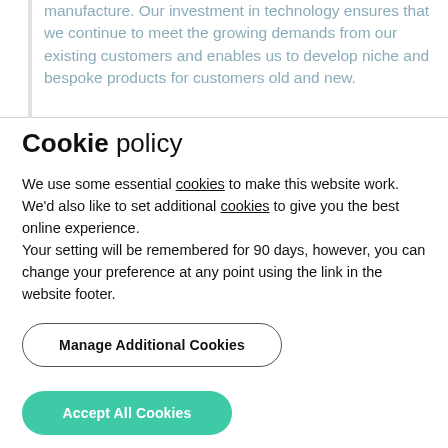manufacture. Our investment in technology ensures that we continue to meet the growing demands from our existing customers and enables us to develop niche and bespoke products for customers old and new.
Cookie policy
We use some essential cookies to make this website work. We'd also like to set additional cookies to give you the best online experience.
Your setting will be remembered for 90 days, however, you can change your preference at any point using the link in the website footer.
Manage Additional Cookies
Accept All Cookies